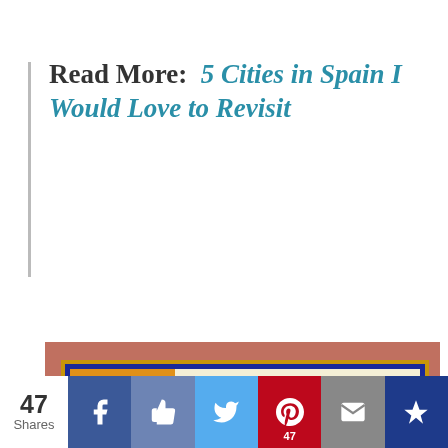Read More:  5 Cities in Spain I Would Love to Revisit
[Figure (photo): Tiled plaque on a terracotta wall reading 'When New Orleans was the Capital of the Spanish Province of Lui-siana']
Privacy & Cookies: This site uses cookies. By continuing to use this website, you agree to their use. To find out more, including how to control cookies, see here: Cookie Policy
47 Shares